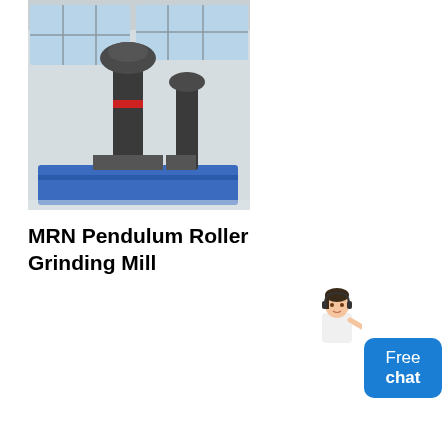[Figure (photo): Industrial grinding mill machinery displayed inside a large factory/warehouse, featuring tall cylindrical grinding equipment on a blue platform]
MRN Pendulum Roller Grinding Mill
[Figure (illustration): A female customer service assistant/chat representative illustration]
[Figure (other): Blue chat bubble button with text 'Free chat']
[Figure (photo): Industrial ore beneficiation plant showing large cylindrical processing equipment, dust collectors, pipes, and yellow metal framework inside an industrial facility]
small alluvial gold ore beneficiation container
Small Gold Ore Beneficiation Container. Small gold ore beneficiation